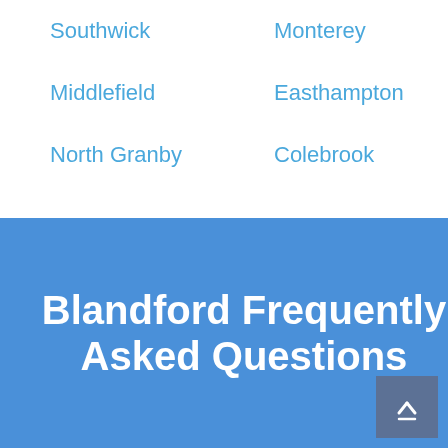Southwick
Monterey
Middlefield
Easthampton
North Granby
Colebrook
Blandford Frequently Asked Questions